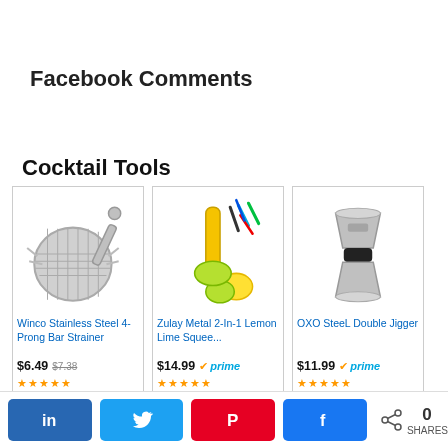Facebook Comments
Cocktail Tools
[Figure (other): Product card: Winco Stainless Steel 4-Prong Bar Strainer, $6.49 (was $7.38), star rating]
[Figure (other): Product card: Zulay Metal 2-In-1 Lemon Lime Squee..., $14.99, Prime, star rating]
[Figure (other): Product card: OXO SteeL Double Jigger, $11.99, Prime, star rating]
in  [Twitter bird]  [Pinterest P]  [Facebook f]   < 0 SHARES